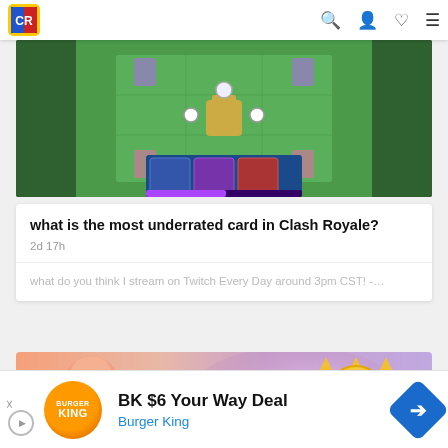Clash Royale game website navigation bar with logo, search, user, heart, and menu icons
[Figure (screenshot): Clash Royale game arena screenshot showing overhead view of battlefield with card selection bar at bottom]
what is the most underrated card in Clash Royale?
2d 17h
what do you think I stream on Twitch Every Day around 3pm CST! -…
[Figure (screenshot): Clash Royale character art showing a muscular fighter with red headband on the left and a sun/crown icon on the right with purple glow effect]
BK $6 Your Way Deal
Burger King